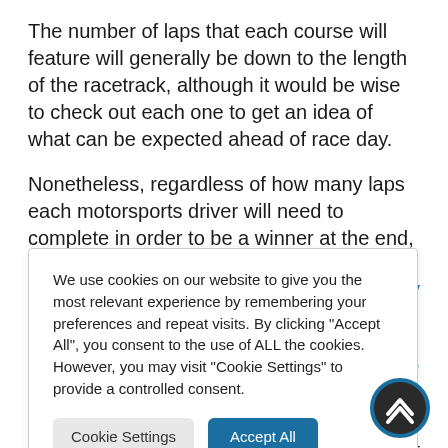The number of laps that each course will feature will generally be down to the length of the racetrack, although it would be wise to check out each one to get an idea of what can be expected ahead of race day.
Nonetheless, regardless of how many laps each motorsports driver will need to complete in order to be a winner at the end, bettors looking for the best online betting experiences will be able to feel as though they
ng tips today
We use cookies on our website to give you the most relevant experience by remembering your preferences and repeat visits. By clicking "Accept All", you consent to the use of ALL the cookies. However, you may visit "Cookie Settings" to provide a controlled consent.
Cookie Settings
Accept All
rt?
e generally ng on the sport trusted
C